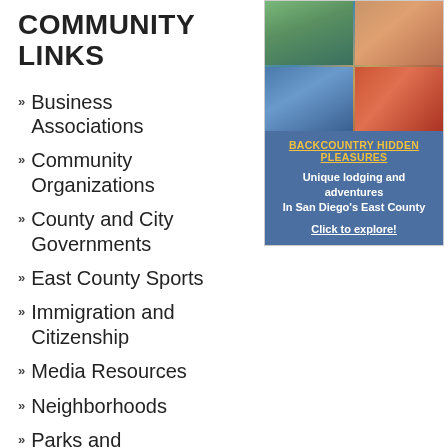COMMUNITY LINKS
Business Associations
Community Organizations
County and City Governments
East County Sports
Immigration and Citizenship
Media Resources
Neighborhoods
Parks and Environmental Resources
Police and Sheriff
[Figure (photo): Advertisement for Backcountry Hidden Pleasures showing photo collage of outdoor scenes and lodging in San Diego's East County]
BACKCOUNTRY HIDDEN PLEASURES
Unique lodging and adventures In San Diego's East County
Click to explore!